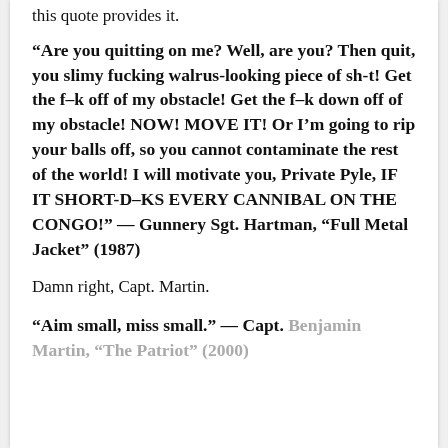this quote provides it.
“Are you quitting on me? Well, are you? Then quit, you slimy fucking walrus-looking piece of sh-t! Get the f–k off of my obstacle! Get the f–k down off of my obstacle! NOW! MOVE IT! Or I’m going to rip your balls off, so you cannot contaminate the rest of the world! I will motivate you, Private Pyle, IF IT SHORT-D–KS EVERY CANNIBAL ON THE CONGO!” — Gunnery Sgt. Hartman, “Full Metal Jacket” (1987)
Damn right, Capt. Martin.
“Aim small, miss small.” — Capt. Benjamin Martin, “The Patriot” (2000)